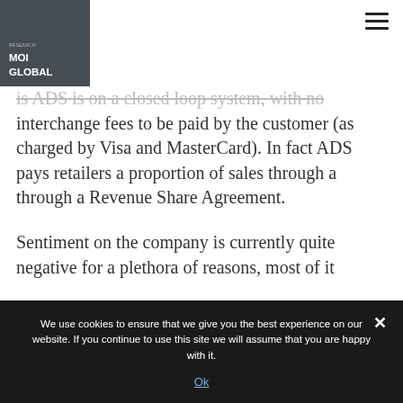[Figure (logo): MOI Global logo — dark grey square with white bold text 'MOI GLOBAL']
is ADS is on a closed loop system, with no interchange fees to be paid by the customer (as charged by Visa and MasterCard). In fact ADS pays retailers a proportion of sales through a through a Revenue Share Agreement.
Sentiment on the company is currently quite negative for a plethora of reasons, most of it
We use cookies to ensure that we give you the best experience on our website. If you continue to use this site we will assume that you are happy with it.
Ok